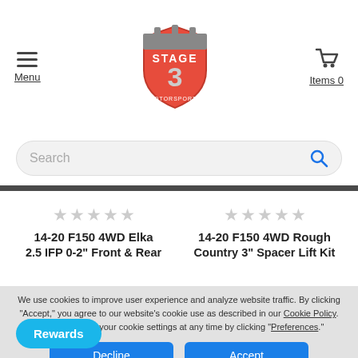Menu | Stage 3 Motorsports logo | Items 0
Search
[Figure (screenshot): Product listing: 14-20 F150 4WD Elka 2.5 IFP 0-2" Front & Rear with star rating]
[Figure (screenshot): Product listing: 14-20 F150 4WD Rough Country 3" Spacer Lift Kit with star rating]
We use cookies to improve user experience and analyze website traffic. By clicking "Accept," you agree to our website's cookie use as described in our Cookie Policy. You can change your cookie settings at any time by clicking "Preferences."
Decline
Accept
Preferences
Rewards